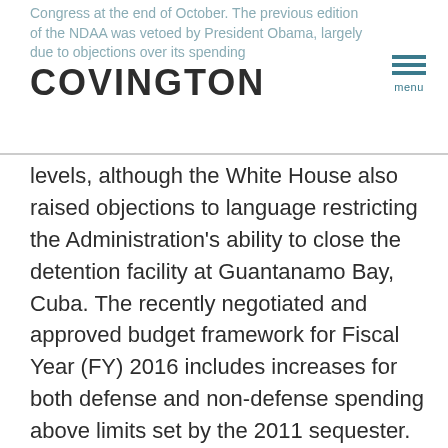Congress at the end of October. The previous edition of the NDAA was vetoed by President Obama, largely due to objections over its spending
COVINGTON
levels, although the White House also raised objections to language restricting the Administration's ability to close the detention facility at Guantanamo Bay, Cuba. The recently negotiated and approved budget framework for Fiscal Year (FY) 2016 includes increases for both defense and non-defense spending above limits set by the 2011 sequester. S. 1356 abides by these new topline numbers and contains a $5 billion reduction in Pentagon spending from the previous iteration of the bill. The House passed S. 1356 last Thursday on a bipartisan 370-58 vote, and the legislation is expected to receive similar support for swift